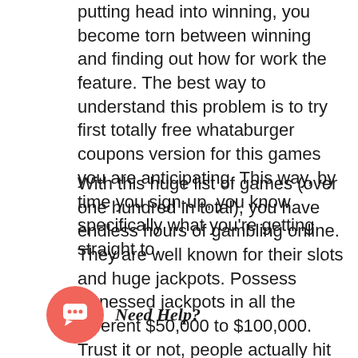putting head into winning, you become torn between winning and finding out how for work the feature. The best way to understand this problem is to try first totally free whataburger coupons version for this games you are anticipating. This way, by time you sign-up, you know specifically what you're getting straight to.
With this huge list of games (over one hundred in total), you have endless hours of gambling online. They are well known for their slots and huge jackpots. Possess witnessed jackpots in all the different $50,000 to $100,000. Trust it or not, people actually hit these jackpots along with the casino pays them each pixel penny. Loco Panda no its though; they are an driven online casino truly will carry all on the other great stuff like Poker, Blackjack and
[Figure (other): Chat widget with pink circular icon containing a chat bubble and 'Need Help?' text label]